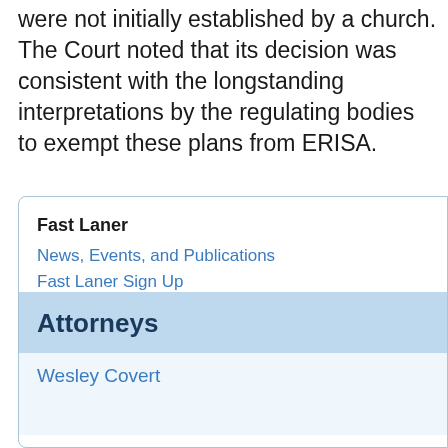were not initially established by a church. The Court noted that its decision was consistent with the longstanding interpretations by the regulating bodies to exempt these plans from ERISA.
Fast Laner
News, Events, and Publications
Fast Laner Sign Up
Attorneys
Wesley Covert